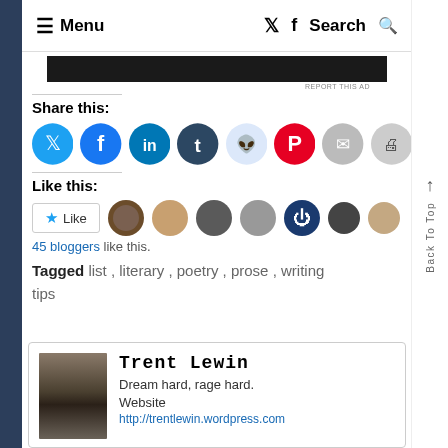≡ Menu   𝕏  f  Search 🔍
[Figure (other): Dark advertisement banner]
REPORT THIS AD
Share this:
[Figure (other): Social sharing icons: Twitter, Facebook, LinkedIn, Tumblr, Reddit, Pinterest, Email, Print]
Like this:
[Figure (other): Like button with star icon and avatar photos of 7 bloggers]
45 bloggers like this.
Tagged  list ,  literary ,  poetry ,  prose ,  writing tips
[Figure (other): Author profile card with vintage photo of Trent Lewin]
Trent Lewin
Dream hard, rage hard.
Website
http://trentlewin.wordpress.com